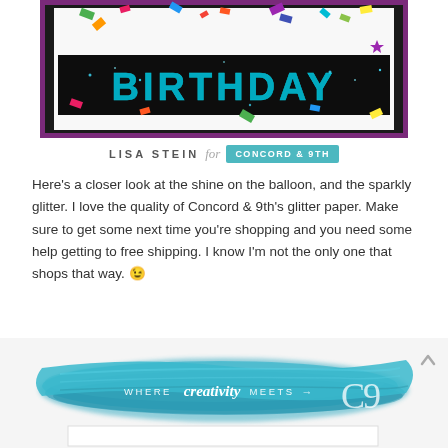[Figure (photo): Close-up photo of a birthday card with glitter teal BIRTHDAY text on a dark background, with colorful confetti and star shapes, surrounded by a purple zigzag border]
LISA STEIN for CONCORD & 9TH
Here's a closer look at the shine on the balloon, and the sparkly glitter. I love the quality of Concord & 9th's glitter paper. Make sure to get some next time you're shopping and you need some help getting to free shipping. I know I'm not the only one that shops that way. 😉
[Figure (illustration): Blue watercolor brush stroke banner with text WHERE creativity MEETS C9, with a large stylized C9 logo on the right]